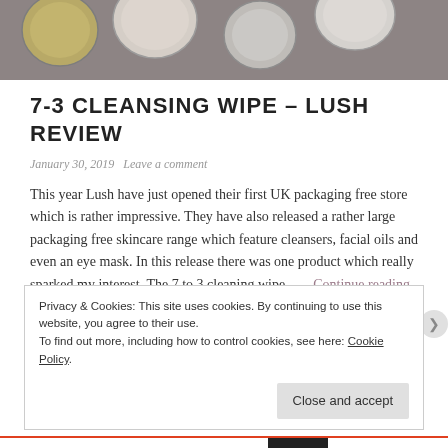[Figure (photo): Top banner photo showing makeup/skincare product lids from above on a dark surface]
7-3 CLEANSING WIPE – LUSH REVIEW
January 30, 2019   Leave a comment
This year Lush have just opened their first UK packaging free store which is rather impressive. They have also released a rather large packaging free skincare range which feature cleansers, facial oils and even an eye mask. In this release there was one product which really sparked my interest, The 7 to 3 cleaning wipe. . . . Continue reading
Privacy & Cookies: This site uses cookies. By continuing to use this website, you agree to their use.
To find out more, including how to control cookies, see here: Cookie Policy
Close and accept